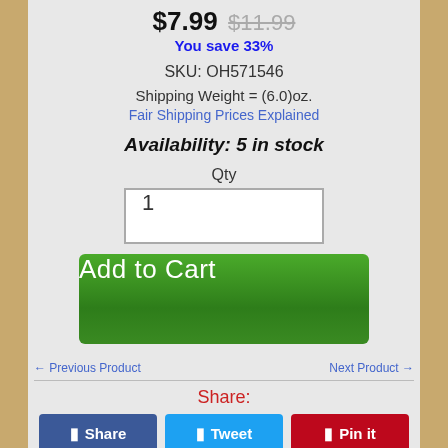$7.99 $11.99 You save 33%
SKU: OH571546
Shipping Weight = (6.0)oz.
Fair Shipping Prices Explained
Availability: 5 in stock
Qty
1
Add to Cart
← Previous Product
Next Product →
Share:
Share
Tweet
Pin it
FEATURES